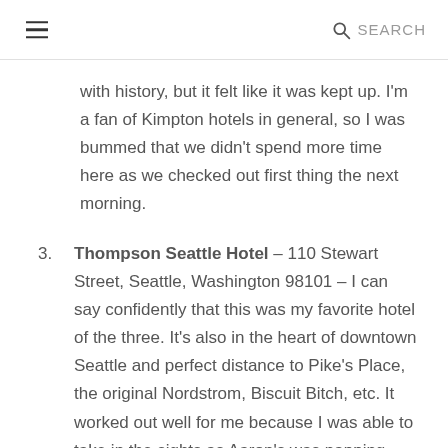≡  🔍 SEARCH
with history, but it felt like it was kept up. I'm a fan of Kimpton hotels in general, so I was bummed that we didn't spend more time here as we checked out first thing the next morning.
3. Thompson Seattle Hotel – 110 Stewart Street, Seattle, Washington 98101 – I can say confidently that this was my favorite hotel of the three. It's also in the heart of downtown Seattle and perfect distance to Pike's Place, the original Nordstrom, Biscuit Bitch, etc. It worked out well for me because I was able to take in the sights as Aaron's was napping